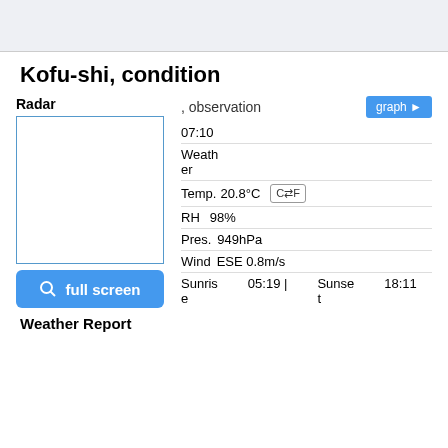Kofu-shi, condition
Radar , observation graph ▶
[Figure (other): Radar image box (empty white box with blue border)]
🔍 full screen
07:10
Weather
Temp. 20.8°C C⇄F
RH 98%
Pres. 949hPa
Wind ESE 0.8m/s
Sunrise 05:19 | Sunset 18:11
Weather Report